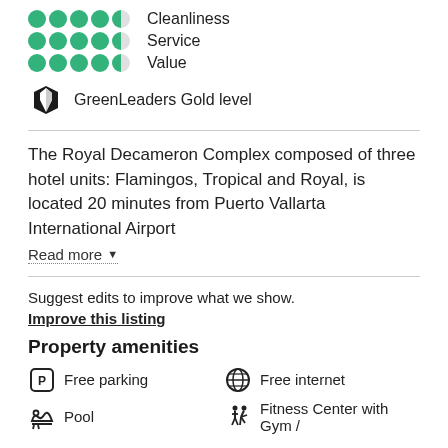Cleanliness
Service
Value
[Figure (logo): GreenLeaders Gold level icon (black leaf/badge shape)]
GreenLeaders Gold level
The Royal Decameron Complex composed of three hotel units: Flamingos, Tropical and Royal, is located 20 minutes from Puerto Vallarta International Airport
Read more
Suggest edits to improve what we show.
Improve this listing
Property amenities
Free parking
Free internet
Pool
Fitness Center with Gym /